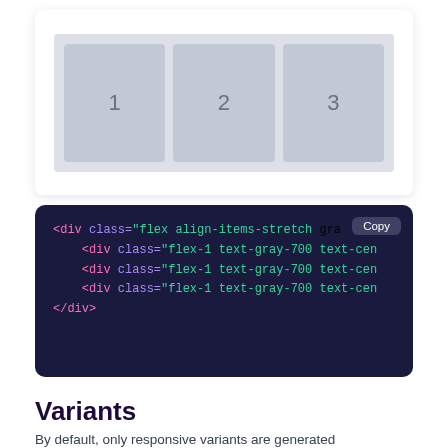[Figure (screenshot): A demo UI card showing three gray numbered boxes (1, 2, 3) arranged in a horizontal flex row with equal width, on a light gray background inside a white card with shadow.]
[Figure (screenshot): A dark navy code block showing HTML with flex classes: <div class='flex align-items-stretch'> containing three <div class='flex-1 text-gray-700 text-cen'> items and a closing </div>, with a 'Copy' button overlay.]
Variants
By default, only responsive variants are generated